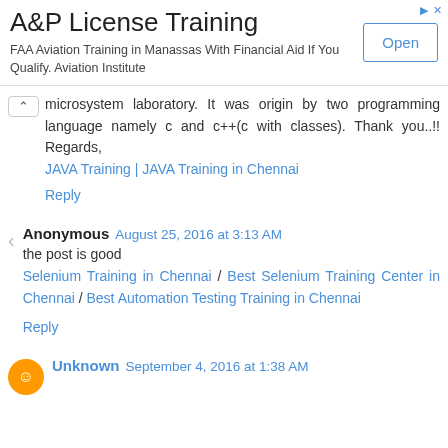[Figure (screenshot): Advertisement banner for A&P License Training. Title: 'A&P License Training'. Body text: 'FAA Aviation Training in Manassas With Financial Aid If You Qualify. Aviation Institute'. Has an 'Open' button on the right.]
microsystem laboratory. It was origin by two programming language namely c and c++(c with classes). Thank you..!! Regards,
JAVA Training | JAVA Training in Chennai
Reply
Anonymous August 25, 2016 at 3:13 AM
the post is good
Selenium Training in Chennai / Best Selenium Training Center in Chennai / Best Automation Testing Training in Chennai
Reply
Unknown September 4, 2016 at 1:38 AM